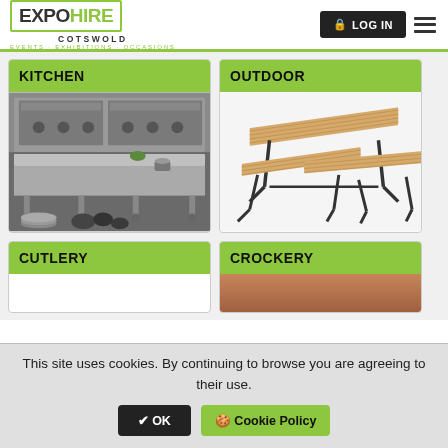EXPO HIRE COTSWOLD — EVENTS · EXHIBITIONS · OCCASIONS
KITCHEN
[Figure (photo): Commercial kitchen interior with stainless steel equipment, cooking ranges, and prep tables with pots and pans]
OUTDOOR
[Figure (photo): Wooden folding beer garden table and bench set with black metal legs on white background]
CUTLERY
CROCKERY
[Figure (photo): Partial view of crockery items — cut off by cookie banner]
This site uses cookies. By continuing to browse you are agreeing to their use.